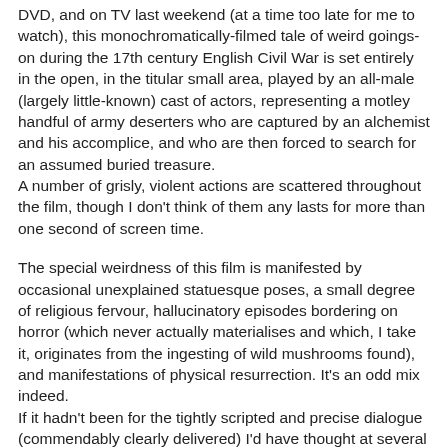DVD, and on TV last weekend (at a time too late for me to watch), this monochromatically-filmed tale of weird goings-on during the 17th century English Civil War is set entirely in the open, in the titular small area, played by an all-male (largely little-known) cast of actors, representing a motley handful of army deserters who are captured by an alchemist and his accomplice, and who are then forced to search for an assumed buried treasure.
A number of grisly, violent actions are scattered throughout the film, though I don't think of them any lasts for more than one second of screen time.
The special weirdness of this film is manifested by occasional unexplained statuesque poses, a small degree of religious fervour, hallucinatory episodes bordering on horror (which never actually materialises and which, I take it, originates from the ingesting of wild mushrooms found), and manifestations of physical resurrection. It's an odd mix indeed.
If it hadn't been for the tightly scripted and precise dialogue (commendably clearly delivered) I'd have thought at several points that the film-makers had 'lost the plot' and were